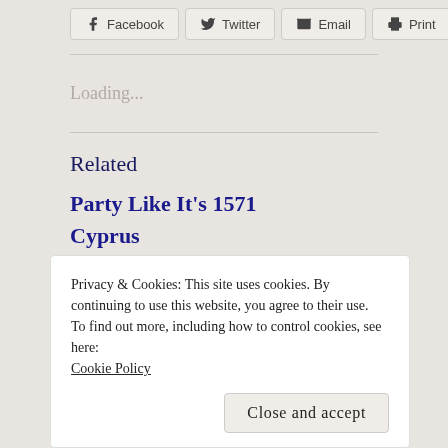[Figure (other): Social share buttons: Facebook, Twitter, Email, Print]
Loading...
Related
Party Like It's 1571
Privacy & Cookies: This site uses cookies. By continuing to use this website, you agree to their use.
To find out more, including how to control cookies, see here: Cookie Policy
Close and accept
Cyprus